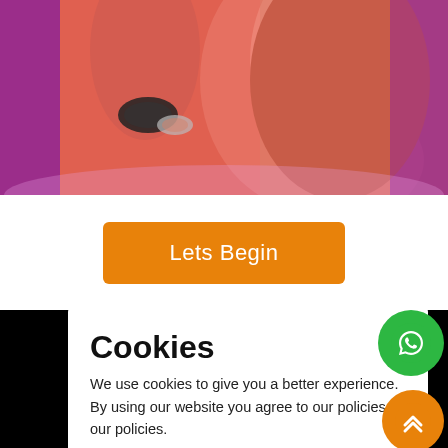[Figure (photo): Close-up of a woman in a traditional Indian red/salmon sari with bangles (black and silver) on her wrists, against a purple/magenta background]
Lets Begin
Cookies
We use cookies to give you a better experience. By using our website you agree to our policies our policies.
Decline
Accept